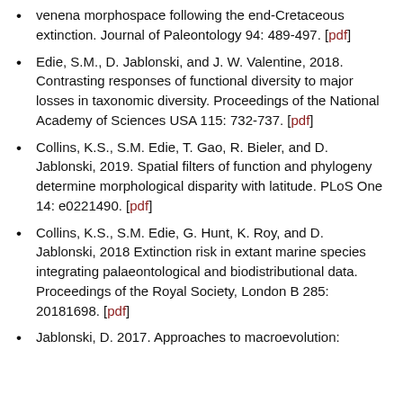venena morphospace following the end-Cretaceous extinction. Journal of Paleontology 94: 489-497. [pdf]
Edie, S.M., D. Jablonski, and J. W. Valentine, 2018. Contrasting responses of functional diversity to major losses in taxonomic diversity. Proceedings of the National Academy of Sciences USA 115: 732-737. [pdf]
Collins, K.S., S.M. Edie, T. Gao, R. Bieler, and D. Jablonski, 2019. Spatial filters of function and phylogeny determine morphological disparity with latitude. PLoS One 14: e0221490. [pdf]
Collins, K.S., S.M. Edie, G. Hunt, K. Roy, and D. Jablonski, 2018 Extinction risk in extant marine species integrating palaeontological and biodistributional data. Proceedings of the Royal Society, London B 285: 20181698. [pdf]
Jablonski, D. 2017. Approaches to macroevolution: